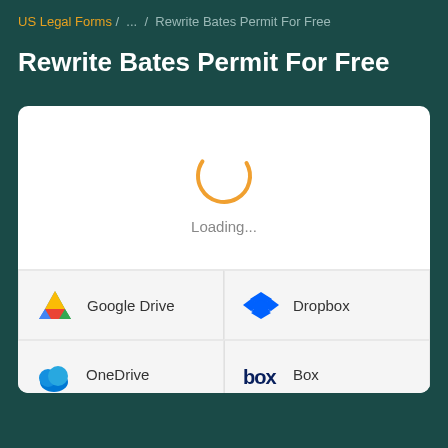US Legal Forms / ... / Rewrite Bates Permit For Free
Rewrite Bates Permit For Free
[Figure (screenshot): Loading spinner (orange arc circle) with 'Loading...' text below it, inside a white card panel. Below the loading area are cloud storage service icons: Google Drive, Dropbox, OneDrive, Box.]